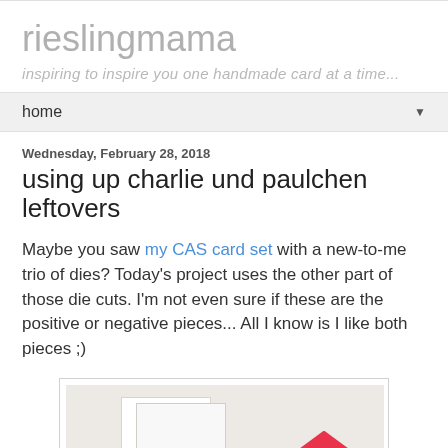rieslingmama
inspiring to inspire you one handmade card at a time...
home
Wednesday, February 28, 2018
using up charlie und paulchen leftovers
Maybe you saw my CAS card set with a new-to-me trio of dies? Today's project uses the other part of those die cuts. I'm not even sure if these are the positive or negative pieces... All I know is I like both pieces ;)
[Figure (photo): Photo of handmade cards featuring white card bases with a pink/red diamond-shaped die cut piece, shown against a light background]